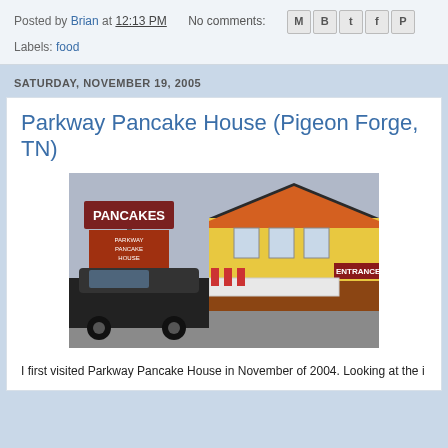Posted by Brian at 12:13 PM   No comments:
Labels: food
SATURDAY, NOVEMBER 19, 2005
Parkway Pancake House (Pigeon Forge, TN)
[Figure (photo): Exterior photo of Parkway Pancake House restaurant in Pigeon Forge, TN. Shows a yellow building with brown/orange trim, a large sign reading PANCAKES and Parkway Pancake House, an ENTRANCE sign, American flags, and a dark SUV parked in front.]
I first visited Parkway Pancake House in November of 2004. Looking at the i